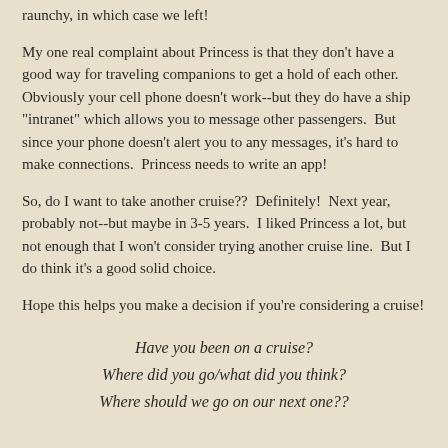raunchy, in which case we left!
My one real complaint about Princess is that they don't have a good way for traveling companions to get a hold of each other.  Obviously your cell phone doesn't work--but they do have a ship "intranet" which allows you to message other passengers.  But since your phone doesn't alert you to any messages, it's hard to make connections.  Princess needs to write an app!
So, do I want to take another cruise??  Definitely!  Next year, probably not--but maybe in 3-5 years.  I liked Princess a lot, but not enough that I won't consider trying another cruise line.  But I do think it's a good solid choice.
Hope this helps you make a decision if you're considering a cruise!
Have you been on a cruise?
Where did you go/what did you think?
Where should we go on our next one??